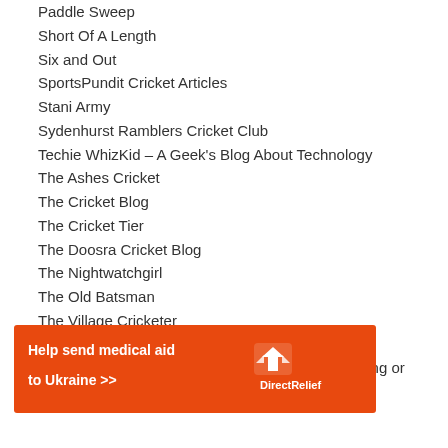Paddle Sweep
Short Of A Length
Six and Out
SportsPundit Cricket Articles
Stani Army
Sydenhurst Ramblers Cricket Club
Techie WhizKid – A Geek's Blog About Technology
The Ashes Cricket
The Cricket Blog
The Cricket Tier
The Doosra Cricket Blog
The Nightwatchgirl
The Old Batsman
The Village Cricketer
The Wicket Post
Watch It Or Not – Is The New Movie Worth Watching or
[Figure (infographic): Orange advertisement banner for Direct Relief: 'Help send medical aid to Ukraine >>' with Direct Relief logo]